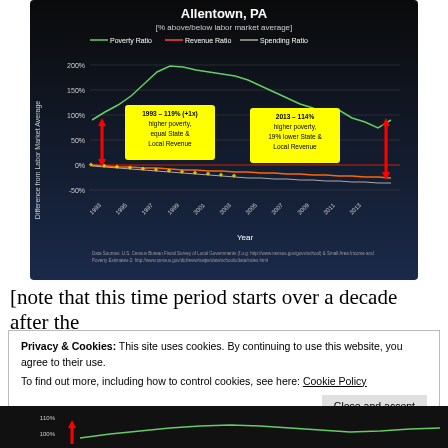[Figure (line-chart): Line chart showing Poverty Ratio, Revenue Ratio, and Spending Ratio for Allentown PA from 1993 to 2013. Poverty ratio peaks around 200% above labor market average. Annotations: 1993 - 119% (+1x) higher poverty, equal State & Local Revenue; 2013 - 114% higher poverty, 19% lower State & Local Revenue. Red arrows indicate change.]
[note that this time period starts over a decade after the
Privacy & Cookies: This site uses cookies. By continuing to use this website, you agree to their use.
To find out more, including how to control cookies, see here: Cookie Policy
[Figure (line-chart): Partial bottom chart showing another city's data, partially cropped.]